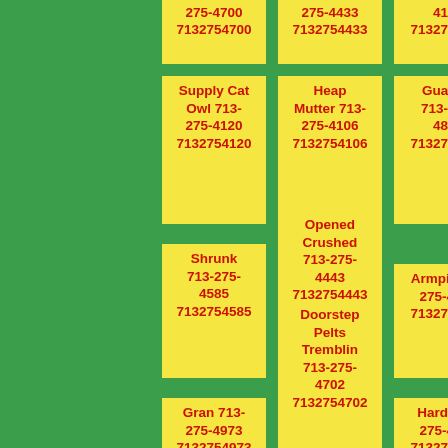275-4700 7132754700
275-4433 7132754433
4124 7132754124
Supply Cat Owl 713-275-4120 7132754120
Heap Mutter 713-275-4106 7132754106
Guardin 713-275-4811 7132754811
Shrunk 713-275-4585 7132754585
Opened Crushed 713-275-4443 7132754443
Armpit 713-275-4542 7132754542
Gran 713-275-4973 7132754973
Doorstep Pelts Tremblin 713-275-4702 7132754702
Hard 713-275-4198 7132754198